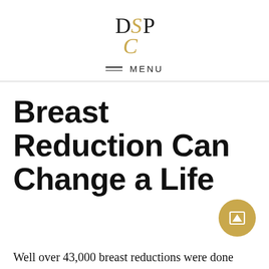[Figure (logo): DSP Clinic logo with stylized letters D, S, P, C in black and gold/amber on white background]
≡ MENU
Breast Reduction Can Change a Life
Well over 43,000 breast reductions were done